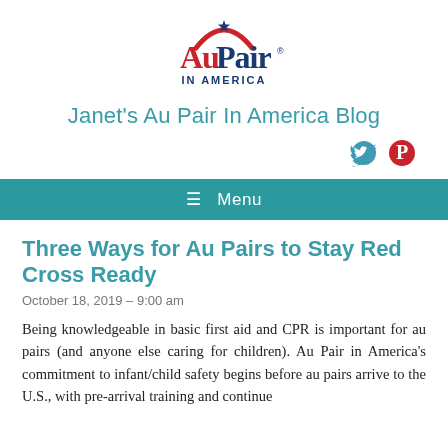[Figure (logo): Au Pair In America logo with red arc, blue text 'Au Pair.' and 'IN AMERICA' below]
Janet's Au Pair In America Blog
[Figure (other): Twitter and Pinterest social media icons]
≡ Menu
Three Ways for Au Pairs to Stay Red Cross Ready
October 18, 2019 – 9:00 am
Being knowledgeable in basic first aid and CPR is important for au pairs (and anyone else caring for children). Au Pair in America's commitment to infant/child safety begins before au pairs arrive to the U.S., with pre-arrival training and continue